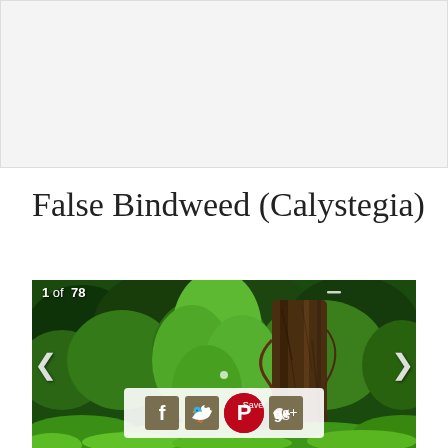[Figure (other): Advertisement banner placeholder with light gray background]
False Bindweed (Calystegia)
[Figure (photo): Photograph of False Bindweed (Calystegia) plant climbing up a tree trunk in a lush green forest setting. Image 1 of 78. Social sharing icons (Facebook, Twitter, Pinterest, Google+) overlaid at the bottom center. Navigation arrows on left and right sides.]